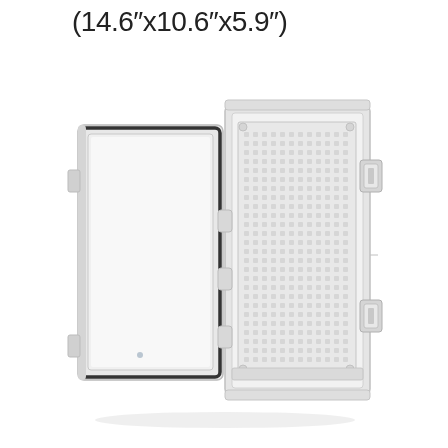(14.6"x10.6"x5.9")
[Figure (photo): Photograph of an open weatherproof/waterproof enclosure box (gray/white plastic) showing the door swung open to the left with a black rubber gasket seal visible around the door perimeter, and the interior showing a perforated mounting panel/backplate on the right side, with two metal latch/lock hardware fittings on the right exterior edge. Hinges are visible at the center connecting door and body.]